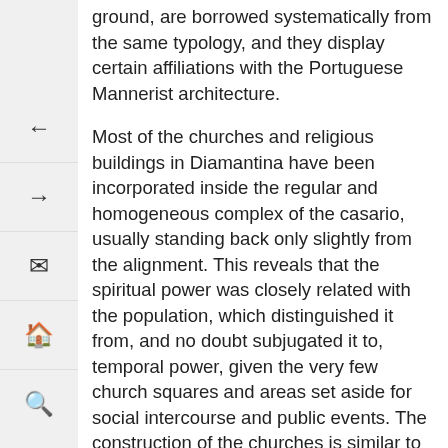ground, are borrowed systematically from the same typology, and they display certain affiliations with the Portuguese Mannerist architecture.
Most of the churches and religious buildings in Diamantina have been incorporated inside the regular and homogeneous complex of the casario, usually standing back only slightly from the alignment. This reveals that the spiritual power was closely related with the population, which distinguished it from, and no doubt subjugated it to, temporal power, given the very few church squares and areas set aside for social intercourse and public events. The construction of the churches is similar to that of civil buildings: they have the same colours and textures; the churches have only one bell tower, usually erected on the side of the building; and the pediment is in sculpted wood.